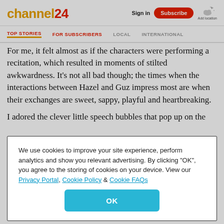channel24 | Sign in | Subscribe | Add location
TOP STORIES | FOR SUBSCRIBERS | LOCAL | INTERNATIONAL
For me, it felt almost as if the characters were performing a recitation, which resulted in moments of stilted awkwardness. It’s not all bad though; the times when the interactions between Hazel and Guz impress most are when their exchanges are sweet, sappy, playful and heartbreaking.
I adored the clever little speech bubbles that pop up on the
We use cookies to improve your site experience, perform analytics and show you relevant advertising. By clicking “OK”, you agree to the storing of cookies on your device. View our Privacy Portal, Cookie Policy & Cookie FAQs
OK